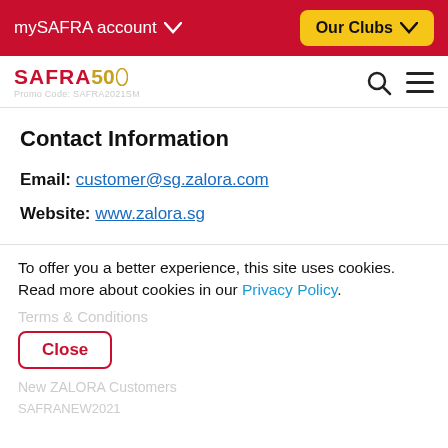mySAFRA account   Our Clubs
[Figure (logo): SAFRA 50th anniversary logo with search and hamburger menu icons. Promo code text overlaid: SAFRA2021SM]
Contact Information
Email: customer@sg.zalora.com
Website: www.zalora.sg
To offer you a better experience, this site uses cookies. Read more about cookies in our Privacy Policy.
Close